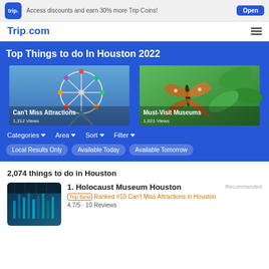Access discounts and earn 30% more Trip Coins! Open
Trip.com
Top Things to do In Houston 2022
[Figure (photo): Ferris wheel against blue sky - Can't Miss Attractions, 1,312 Views]
[Figure (photo): Butterfly on green fern - Must-Visit Museums, 1,021 Views]
Categories ▼   Area ▼   Sort ▼   Filter ▼
Local Results Only
Available Today
Available Tomorrow
2,074 things to do in Houston
[Figure (photo): Holocaust Museum Houston interior with blue lighting installation]
1. Holocaust Museum Houston
Recommended
{ Trip Best } Ranked #10 Can't Miss Attractions in Houston
4.7/5 · 10 Reviews